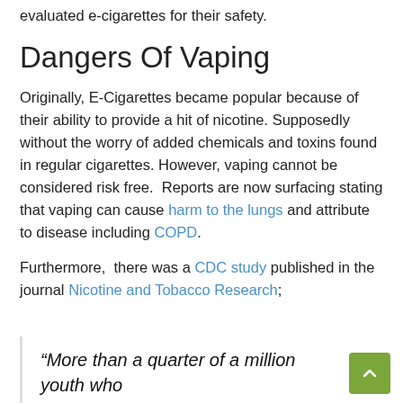by the FDA are reputable. However, the FDA has not evaluated e-cigarettes for their safety.
Dangers Of Vaping
Originally, E-Cigarettes became popular because of their ability to provide a hit of nicotine. Supposedly without the worry of added chemicals and toxins found in regular cigarettes. However, vaping cannot be considered risk free. Reports are now surfacing stating that vaping can cause harm to the lungs and attribute to disease including COPD.
Furthermore, there was a CDC study published in the journal Nicotine and Tobacco Research;
“More than a quarter of a million youth who